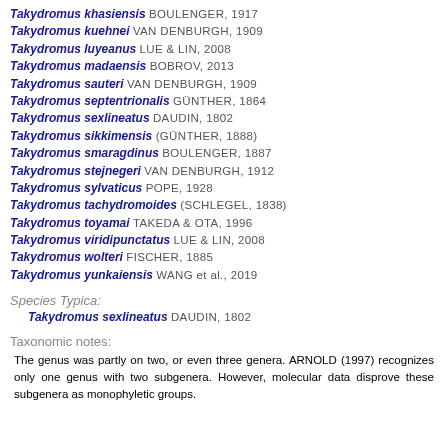Takydromus khasiensis BOULENGER, 1917
Takydromus kuehnei VAN DENBURGH, 1909
Takydromus luyeanus LUE & LIN, 2008
Takydromus madaensis BOBROV, 2013
Takydromus sauteri VAN DENBURGH, 1909
Takydromus septentrionalis GÜNTHER, 1864
Takydromus sexlineatus DAUDIN, 1802
Takydromus sikkimensis (GÜNTHER, 1888)
Takydromus smaragdinus BOULENGER, 1887
Takydromus stejnegeri VAN DENBURGH, 1912
Takydromus sylvaticus POPE, 1928
Takydromus tachydromoides (SCHLEGEL, 1838)
Takydromus toyamai TAKEDA & OTA, 1996
Takydromus viridipunctatus LUE & LIN, 2008
Takydromus wolteri FISCHER, 1885
Takydromus yunkaiensis WANG et al., 2019
Species Typica:
Takydromus sexlineatus DAUDIN, 1802
Taxonomic notes:
The genus was partly on two, or even three genera. ARNOLD (1997) recognizes only one genus with two subgenera. However, molecular data disprove these subgenera as monophyletic groups.